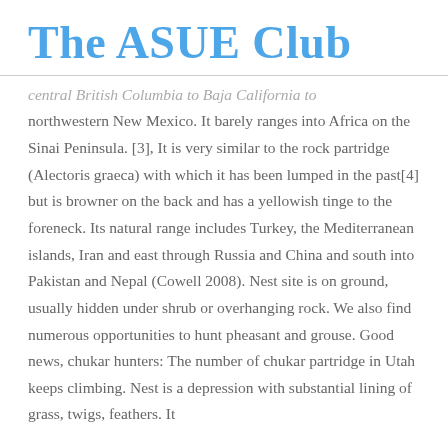The ASUE Club
central British Columbia to Baja California to northwestern New Mexico. It barely ranges into Africa on the Sinai Peninsula. [3], It is very similar to the rock partridge (Alectoris graeca) with which it has been lumped in the past[4] but is browner on the back and has a yellowish tinge to the foreneck. Its natural range includes Turkey, the Mediterranean islands, Iran and east through Russia and China and south into Pakistan and Nepal (Cowell 2008). Nest site is on ground, usually hidden under shrub or overhanging rock. We also find numerous opportunities to hunt pheasant and grouse. Good news, chukar hunters: The number of chukar partridge in Utah keeps climbing. Nest is a depression with substantial lining of grass, twigs, feathers. It